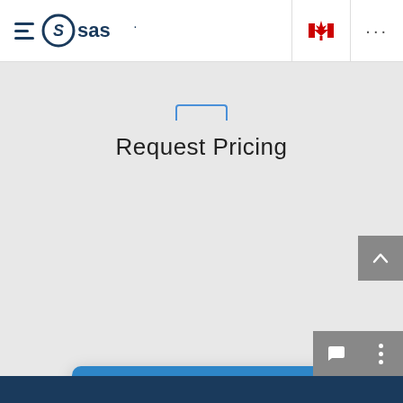[Figure (screenshot): SAS website navigation bar with hamburger menu icon, SAS logo, Canadian flag icon, and ellipsis menu on white background]
SAS® Solution for Stress Testing
Request Pricing
[Figure (screenshot): Chat popup widget with SAS logo, text 'Click Get Started to chat!', close button (X), and 'Get Started' button]
[Figure (screenshot): Three UI icon buttons: up arrow chevron, chat bubble, and vertical ellipsis menu, all on grey square backgrounds]